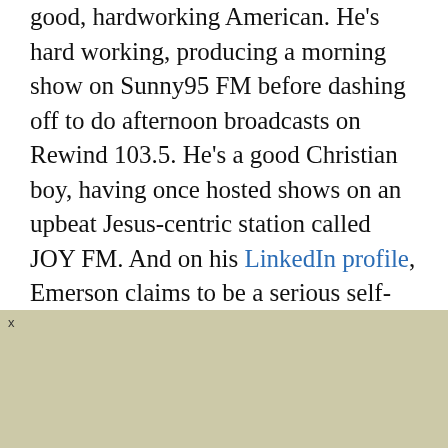good, hardworking American. He's hard working, producing a morning show on Sunny95 FM before dashing off to do afternoon broadcasts on Rewind 103.5. He's a good Christian boy, having once hosted shows on an upbeat Jesus-centric station called JOY FM. And on his LinkedIn profile, Emerson claims to be a serious self-starter, willing to hurl himself at unfamiliar broadcasting and sound-editing software with a cheerful determination to learn well and fast. Maybe most impressively, he's a 26-